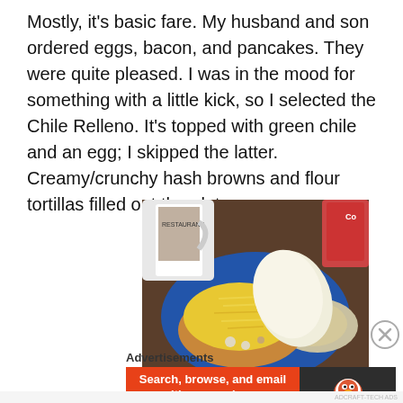Mostly, it's basic fare. My husband and son ordered eggs, bacon, and pancakes. They were quite pleased. I was in the mood for something with a little kick, so I selected the Chile Relleno. It's topped with green chile and an egg; I skipped the latter. Creamy/crunchy hash browns and flour tortillas filled out the plate.
[Figure (photo): A blue plate with Chile Relleno topped with shredded yellow cheese and green chile, accompanied by flour tortillas and hash browns. Restaurant mugs visible in background.]
Advertisements
[Figure (infographic): DuckDuckGo advertisement banner: orange left side reads 'Search, browse, and email with more privacy. All in One Free App', dark right side shows DuckDuckGo duck logo and brand name.]